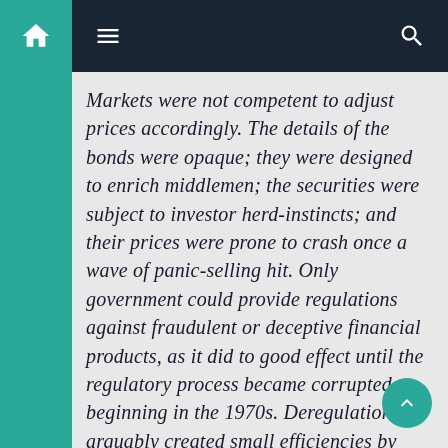Navigation bar with home, menu, and search icons
Markets were not competent to adjust prices accordingly. The details of the bonds were opaque; they were designed to enrich middlemen; the securities were subject to investor herd-instincts; and their prices were prone to crash once a wave of panic-selling hit. Only government could provide regulations against fraudulent or deceptive financial products, as it did to good effect until the regulatory process became corrupted beginning in the 1970s. Deregulation arguably created small efficiencies by steering capital to suitable uses—but any such gains were obliterated many times over by the more than